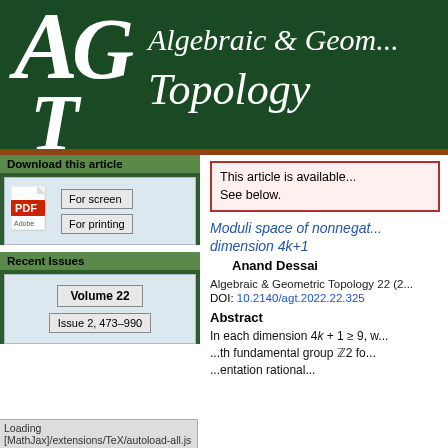[Figure (logo): Algebraic & Geometric Topology journal header banner with AG logo on dark green background]
Download this article
[Figure (illustration): PDF icon with For screen and For printing buttons]
Recent Issues
Volume 22
Issue 2, 473–990
This article is available free of charge.
See below.
Moduli space of nonnegative ... dimension 4k+1
Anand Dessai
Algebraic & Geometric Topology 22 (2...)
DOI: 10.2140/agt.2022.22.325
Abstract
In each dimension 4k + 1 ≥ 9, with fundamental group ℤ2 for...
Loading [MathJax]/extensions/TeX/autoload-all.js